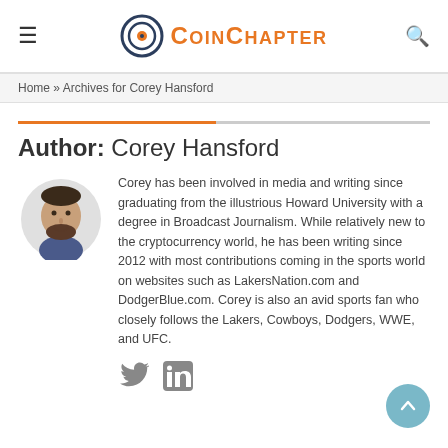CoinChapter
Home » Archives for Corey Hansford
Author: Corey Hansford
[Figure (illustration): Circular avatar illustration of Corey Hansford, a man with a beard wearing a dark shirt, cartoon/illustrated style with grey background circle]
Corey has been involved in media and writing since graduating from the illustrious Howard University with a degree in Broadcast Journalism. While relatively new to the cryptocurrency world, he has been writing since 2012 with most contributions coming in the sports world on websites such as LakersNation.com and DodgerBlue.com. Corey is also an avid sports fan who closely follows the Lakers, Cowboys, Dodgers, WWE, and UFC.
[Figure (logo): Twitter and LinkedIn social media icons]